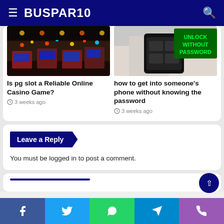BUSPAR10
[Figure (photo): Casino interior with slot machines and colorful lights]
Is pg slot a Reliable Online Casino Game?
3 weeks ago
[Figure (photo): Hand holding a phone with green text overlay reading UNLOCK WITHOUT PASSWORD]
how to get into someone's phone without knowing the password
3 weeks ago
Leave a Reply
You must be logged in to post a comment.